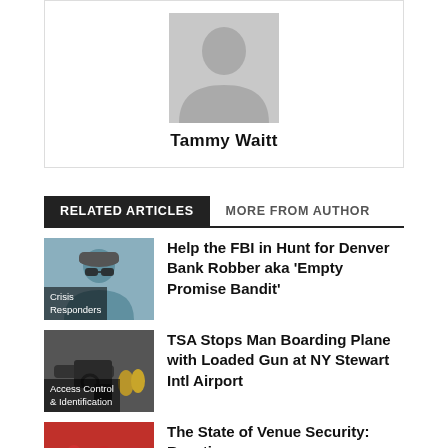[Figure (photo): Author avatar placeholder with grey silhouette icon and name Tammy Waitt below]
Tammy Waitt
RELATED ARTICLES   MORE FROM AUTHOR
[Figure (photo): Article thumbnail showing a man in sunglasses with Crisis Responders label overlay]
Help the FBI in Hunt for Denver Bank Robber aka ‘Empty Promise Bandit’
[Figure (photo): Article thumbnail showing a gun with Access Control & Identification label overlay]
TSA Stops Man Boarding Plane with Loaded Gun at NY Stewart Intl Airport
[Figure (photo): Article thumbnail showing a crowd of people in red]
The State of Venue Security: Reaction